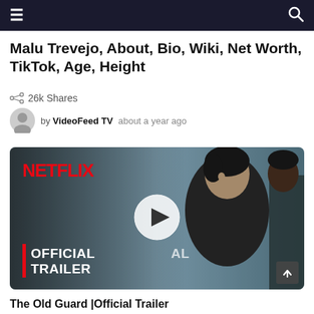≡  🔍
Malu Trevejo, About, Bio, Wiki, Net Worth, TikTok, Age, Height
26k Shares
by VideoFeed TV   about a year ago
[Figure (screenshot): Netflix Official Trailer video thumbnail showing a woman with short dark hair looking alarmed, with NETFLIX logo in red at top left and 'OFFICIAL TRAILER' text at bottom left with a red vertical bar, and a white play button circle in the center]
The Old Guard |Official Trailer